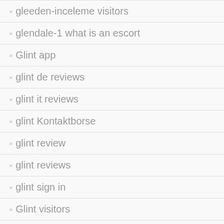gleeden-inceleme visitors
glendale-1 what is an escort
Glint app
glint de reviews
glint it reviews
glint Kontaktborse
glint review
glint reviews
glint sign in
Glint visitors